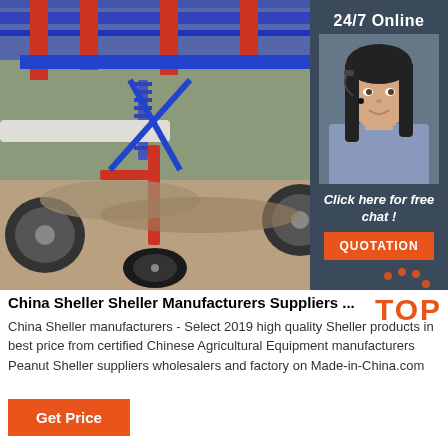[Figure (photo): Agricultural equipment / peanut sheller machine in field, mechanical seeder with red and blue metal parts, wheels, springs, digging tools in soil]
[Figure (photo): 24/7 Online support agent - woman with headset smiling, wearing blue shirt, dark hair, customer service representative]
24/7 Online
Click here for free chat !
QUOTATION
China Sheller Sheller Manufacturers Suppliers ...
China Sheller manufacturers - Select 2019 high quality Sheller products in best price from certified Chinese Agricultural Equipment manufacturers Peanut Sheller suppliers wholesalers and factory on Made-in-China.com
Get Price